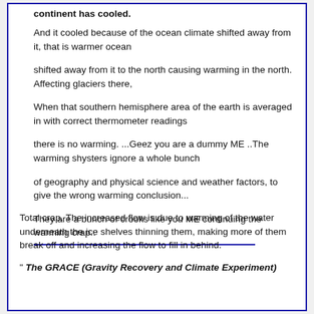continent has cooled.
And it cooled because of the ocean climate shifted away from it, that is warmer ocean
shifted away from it to the north causing warming in the north. Affecting glaciers there,
When that southern hemisphere area of the earth is averaged in with correct thermometer readings
there is no warming. ...Geez you are a dummy ME ..The warming shysters ignore a whole bunch
of geography and physical science and weather factors, to give the wrong warming conclusion...
They are a bunch of crooks like you ME continuing the warming crap..
Total crap. The increased flow is due to warming of the water underneath the ice shelves thinning them, making more of them break off and increasing the flow to fill in behind.
" The GRACE (Gravity Recovery and Climate Experiment)